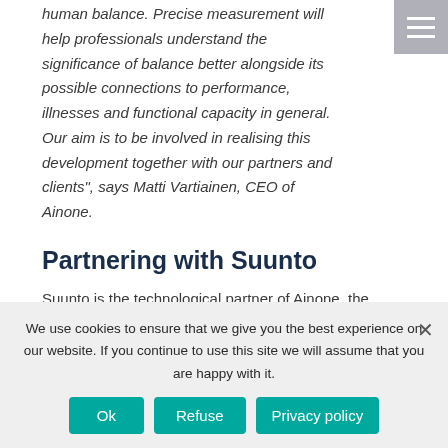human balance. Precise measurement will help professionals understand the significance of balance better alongside its possible connections to performance, illnesses and functional capacity in general. Our aim is to be involved in realising this development together with our partners and clients", says Matti Vartiainen, CEO of Ainone.
Partnering with Suunto
Suunto is the technological partner of Ainone, the Finnish company aiming at the global market through innovative design. Ainone’s solution utilises Suunto’s open Movesense sensor and product development platform
We use cookies to ensure that we give you the best experience on our website. If you continue to use this site we will assume that you are happy with it.